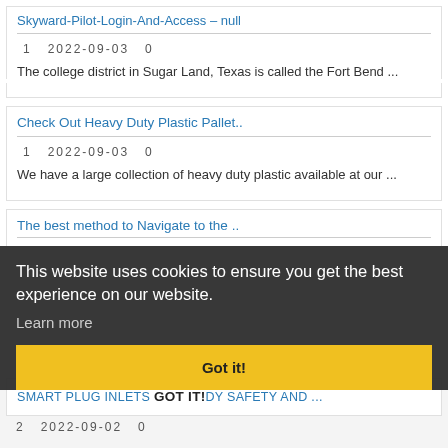Skyward-Pilot-Login-And-Access – null
1   2022-09-03   0
The college district in Sugar Land, Texas is called the Fort Bend ...
Check Out Heavy Duty Plastic Pallet..
1   2022-09-03   0
We have a large collection of heavy duty plastic available at our ...
The best method to Navigate to the ..
This website uses cookies to ensure you get the best experience on our website.
Learn more
Got it!
3   2022-09-03   0
... one or more grocery stores, but they might be chall...
SMART PLUG INLETS FOR BODY SAFETY AND ..
2   2022-09-02   0